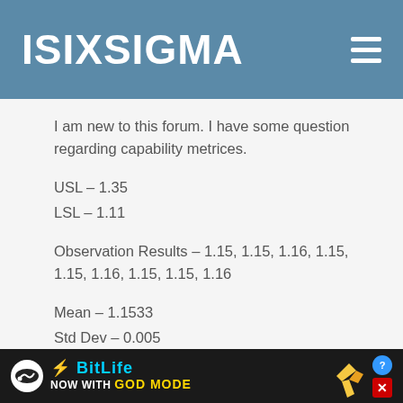ISIXSIGMA
I am new to this forum. I have some question regarding capability metrices.
USL – 1.35
LSL – 1.11
Observation Results – 1.15, 1.15, 1.16, 1.15, 1.15, 1.16, 1.15, 1.15, 1.16
Mean – 1.1533
Std Dev – 0.005
CpK = Min (1.35 – 1.1533/ 3 * 0.005, 1.1533
[Figure (other): BitLife advertisement banner – NOW WITH GOD MODE]